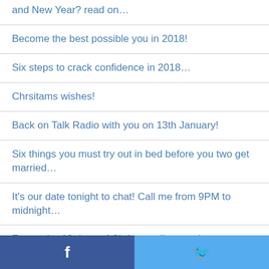and New Year? read on…
Become the best possible you in 2018!
Six steps to crack confidence in 2018…
Chrsitams wishes!
Back on Talk Radio with you on 13th January!
Six things you must try out in bed before you two get married…
It's our date tonight to chat! Call me from 9PM to midnight…
Forget the 12 days of Christmas I've got the